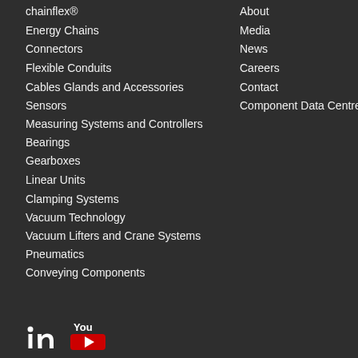chainflex®
Energy Chains
Connectors
Flexible Conduits
Cables Glands and Accessories
Sensors
Measuring Systems and Controllers
Bearings
Gearboxes
Linear Units
Clamping Systems
Vacuum Technology
Vacuum Lifters and Crane Systems
Pneumatics
Conveying Components
About
Media
News
Careers
Contact
Component Data Centre
[Figure (logo): LinkedIn and YouTube social media icons at bottom left]